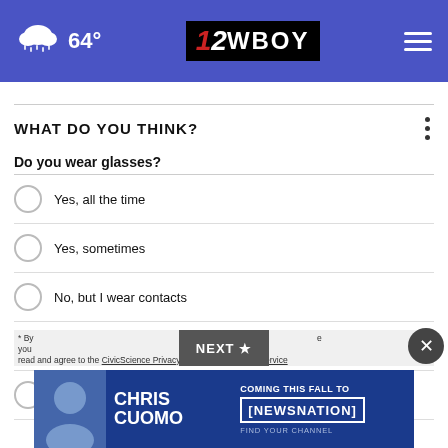64° 12WBOY
WHAT DO YOU THINK?
Do you wear glasses?
Yes, all the time
Yes, sometimes
No, but I wear contacts
No, I never wear glasses
Does not apply
[Figure (screenshot): NEXT button partially visible]
[Figure (advertisement): Chris Cuomo Coming This Fall to NewsNation advertisement banner]
* By... your... read and agree to the CivicScience Privacy Policy and Terms of Service